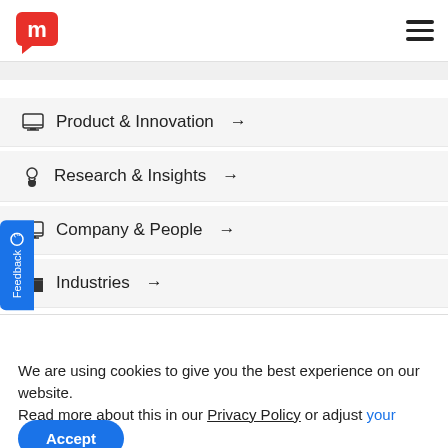[Figure (logo): Red 'm' logo in speech bubble shape]
Product & Innovation →
Research & Insights →
Company & People →
Industries →
We are using cookies to give you the best experience on our website. Read more about this in our Privacy Policy or adjust your settings.
Accept